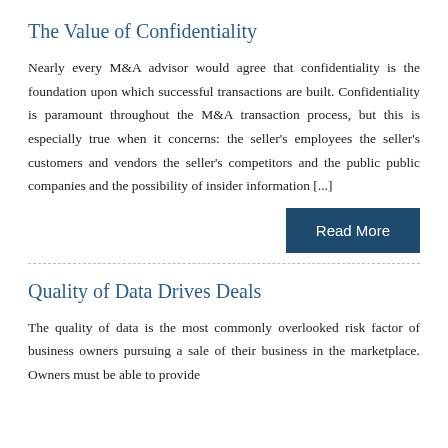The Value of Confidentiality
Nearly every M&A advisor would agree that confidentiality is the foundation upon which successful transactions are built. Confidentiality is paramount throughout the M&A transaction process, but this is especially true when it concerns: the seller's employees the seller's customers and vendors the seller's competitors and the public public companies and the possibility of insider information [...]
Read More
Quality of Data Drives Deals
The quality of data is the most commonly overlooked risk factor of business owners pursuing a sale of their business in the marketplace. Owners must be able to provide